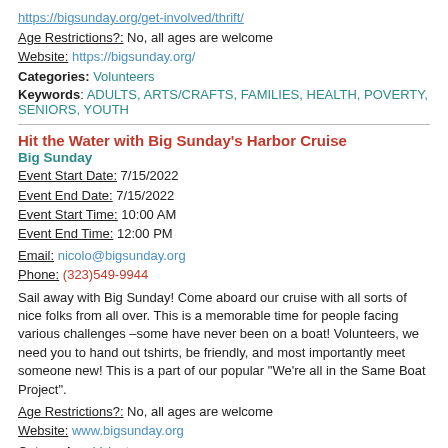https://bigsunday.org/get-involved/thrift/
Age Restrictions?: No, all ages are welcome
Website: https://bigsunday.org/
Categories: Volunteers
Keywords: ADULTS, ARTS/CRAFTS, FAMILIES, HEALTH, POVERTY, SENIORS, YOUTH
Hit the Water with Big Sunday's Harbor Cruise
Big Sunday
Event Start Date: 7/15/2022
Event End Date: 7/15/2022
Event Start Time: 10:00 AM
Event End Time: 12:00 PM
Email: nicolo@bigsunday.org
Phone: (323)549-9944
Sail away with Big Sunday! Come aboard our cruise with all sorts of nice folks from all over. This is a memorable time for people facing various challenges –some have never been on a boat! Volunteers, we need you to hand out tshirts, be friendly, and most importantly meet someone new! This is a part of our popular "We're all in the Same Boat Project".
Age Restrictions?: No, all ages are welcome
Website: www.bigsunday.org
Categories: Volunteers
Keywords: ADULTS, FAMILIES, SENIORS, VETERANS, YOUTH